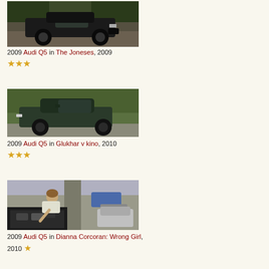[Figure (photo): Dark SUV (Audi Q5) driving on a road, movie still from The Joneses 2009]
2009 Audi Q5 in The Joneses, 2009 ★★★
[Figure (photo): Dark green SUV (Audi Q5) driving in a residential area, movie still from Glukhar v kino 2010]
2009 Audi Q5 in Glukhar v kino, 2010 ★★★
[Figure (photo): Woman leaning over car engine in a parking lot, movie still from Dianna Corcoran: Wrong Girl 2010]
2009 Audi Q5 in Dianna Corcoran: Wrong Girl, 2010 ★